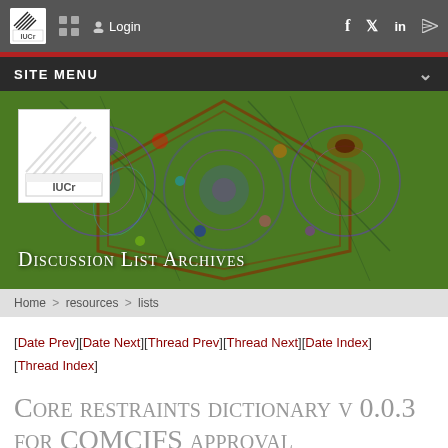IUCR site header with login and social links
[Figure (screenshot): IUCr Discussion List Archives hero banner with colorful kaleidoscopic pattern background and white IUCr logo]
Home > resources > lists
[Date Prev][Date Next][Thread Prev][Thread Next][Date Index][Thread Index]
Core restraints dictionary v 0.0.3 for COMCIFS approval